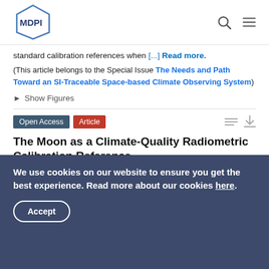MDPI
standard calibration references when [...] Read more.
(This article belongs to the Special Issue The Needs and Path Toward an SI-Traceable Space-based Climate Observing System)
► Show Figures
The Moon as a Climate-Quality Radiometric Calibration Reference
by Thomas C. Stone, Hugh Kieffer, Constantine Lukashin and Kevin Turpie
Remote Sens. 2020, 12(11), 1837;
We use cookies on our website to ensure you get the best experience. Read more about our cookies here.